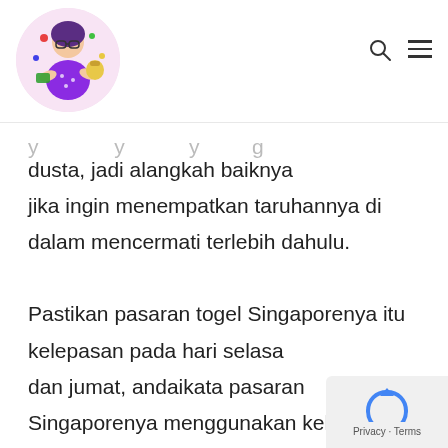[blog logo illustration]
…y… …y… …y… …g…
dusta, jadi alangkah baiknya
jika ingin menempatkan taruhannya di
dalam mencermati terlebih dahulu.

Pastikan pasaran togel Singaporenya itu kelepasan pada hari selasa dan jumat, andaikata pasaran Singaporenya menggunakan keluaran di saat selasa dan jumat, udah dipastikan inilah adalah pasaran Singapore yang palsu dan cuma tiruan diantara Singapore yang yang